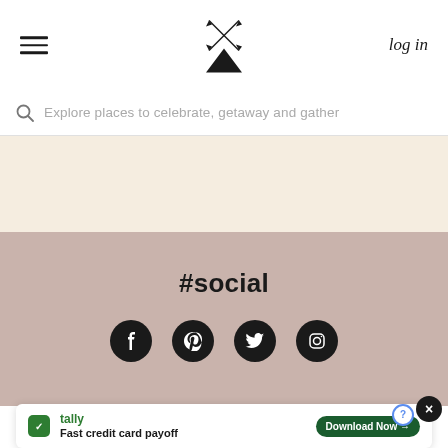[Figure (logo): Website header with hamburger menu icon on left, decorative teepee/crossed-arrows logo in center, and 'log in' text on right]
Explore places to celebrate, getaway and gather
[Figure (illustration): Beige/cream colored band section]
#social
[Figure (illustration): Four social media icons (Facebook, Pinterest, Twitter, Instagram) as white icons on black circles]
[Figure (screenshot): Tally app advertisement banner: 'Fast credit card payoff' with Download Now button and close button]